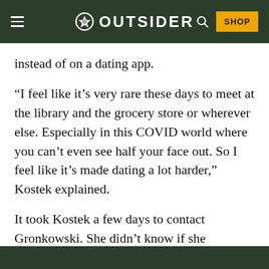OUTSIDER
instead of on a dating app.
“I feel like it’s very rare these days to meet at the library and the grocery store or wherever else. Especially in this COVID world where you can’t even see half your face out. So I feel like it’s made dating a lot harder,” Kostek explained.
It took Kostek a few days to contact Gronkowski. She didn’t know if she